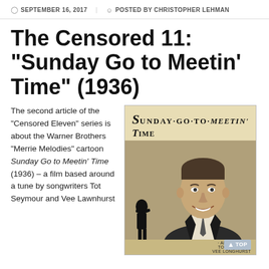SEPTEMBER 16, 2017  POSTED BY CHRISTOPHER LEHMAN
The Censored 11: “Sunday Go to Meetin’ Time” (1936)
The second article of the “Censored Eleven” series is about the Warner Brothers “Merrie Melodies” cartoon Sunday Go to Meetin’ Time (1936) – a film based around a tune by songwriters Tot Seymour and Vee Lawnhurst
[Figure (photo): Sheet music cover for 'Sunday Go to Meetin' Time' featuring large decorative title text at top, a photo of a smiling man (Art Jarrett) in a suit, a silhouette of a figure at bottom left, and credits reading ART JARRETT, TOT SEYMOUR, VEE LONGHURST at bottom right.]